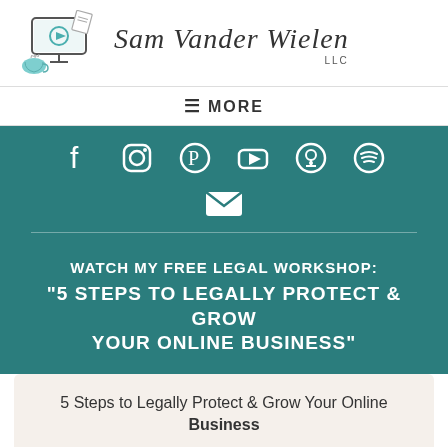[Figure (logo): Sam Vander Wielen LLC logo with illustrated computer/monitor, papers, and coffee cup]
≡ MORE
[Figure (illustration): Social media icons row: Facebook, Instagram, Pinterest, YouTube, Podcast, Spotify, and email envelope icon on teal background]
WATCH MY FREE LEGAL WORKSHOP: "5 STEPS TO LEGALLY PROTECT & GROW YOUR ONLINE BUSINESS"
5 Steps to Legally Protect & Grow Your Online Business